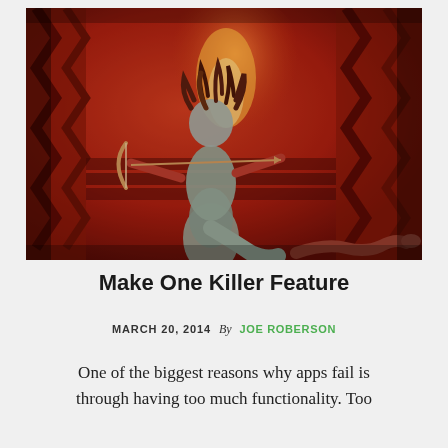[Figure (photo): A mythological warrior figure resembling Medusa or a Greek/Roman goddess with snake-like hair and horns, drawing a bow and arrow. The scene is lit in dramatic red tones with classical temple columns in the background. A snake is visible in the lower right. Appears to be a film still.]
Make One Killer Feature
MARCH 20, 2014 By JOE ROBERSON
One of the biggest reasons why apps fail is through having too much functionality. Too